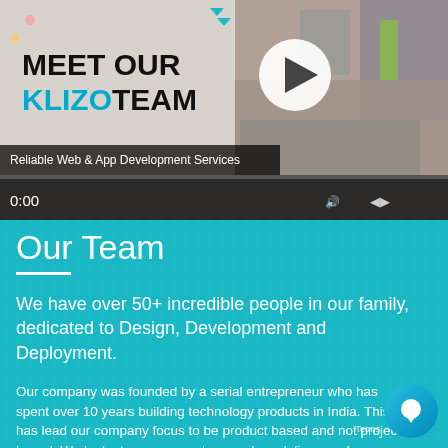[Figure (screenshot): Video thumbnail showing 'MEET OUR KLIZO TEAM' with a play button, people working on laptops in background, video controls showing 0:00 timestamp, and label 'Reliable Web & App Development Services']
Our Team
We have over 50+ incredible people in our family, dedicated to Design, Development and Deployment.
Our company was founded by a serial entrepreneur who has spent over 10 years building technology products in India. This has lead our company focus to be product based and not project based. We look at you as a partner, and we deliver products that shine. We take pride in what we do.